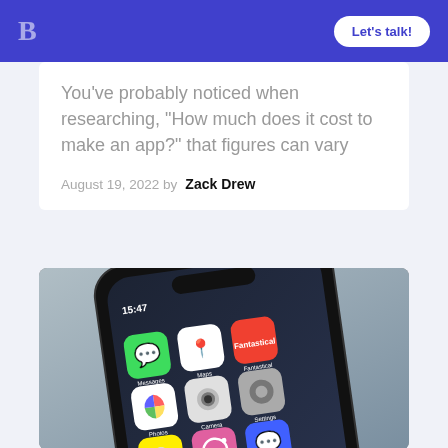B  Let's talk!
You’ve probably noticed when researching, “How much does it cost to make an app?” that figures can vary
August 19, 2022 by Zack Drew
[Figure (photo): Close-up of a smartphone screen showing various app icons including Messages, Maps, Fantastical, Photos, Camera, Settings, Snaps, Instagram, and Messenger apps. The phone displays time 15:47.]